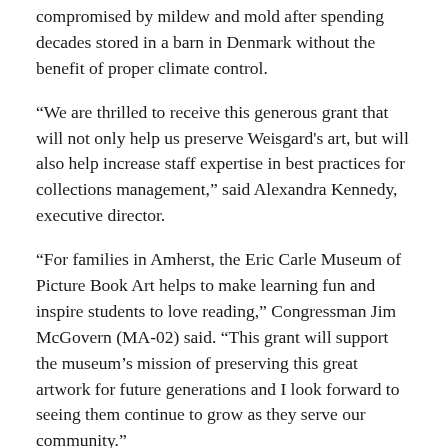compromised by mildew and mold after spending decades stored in a barn in Denmark without the benefit of proper climate control.
“We are thrilled to receive this generous grant that will not only help us preserve Weisgard's art, but will also help increase staff expertise in best practices for collections management,” said Alexandra Kennedy, executive director.
“For families in Amherst, the Eric Carle Museum of Picture Book Art helps to make learning fun and inspire students to love reading,” Congressman Jim McGovern (MA-02) said. “This grant will support the museum’s mission of preserving this great artwork for future generations and I look forward to seeing them continue to grow as they serve our community.”
Twenty illustrations from the collection were previously selected for treatment in preparation for the